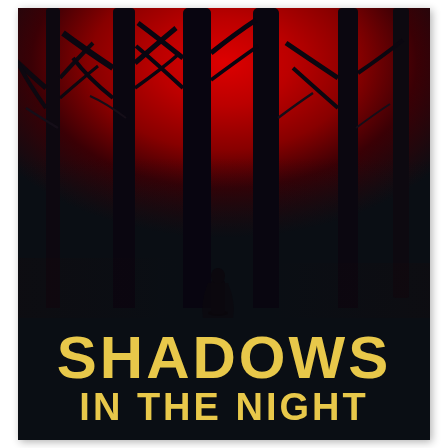[Figure (illustration): Book cover image: a dark, eerie forest scene with a vivid red glowing sky illuminating silhouetted tree trunks and bare branches. A shadowy human figure stands in the middle distance amid the trees.]
SHADOWS IN THE NIGHT